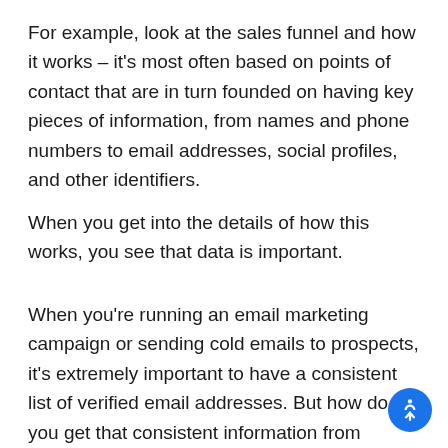For example, look at the sales funnel and how it works – it's most often based on points of contact that are in turn founded on having key pieces of information, from names and phone numbers to email addresses, social profiles, and other identifiers.
When you get into the details of how this works, you see that data is important.
When you're running an email marketing campaign or sending cold emails to prospects, it's extremely important to have a consistent list of verified email addresses. But how do you get that consistent information from sporadically tabulated database